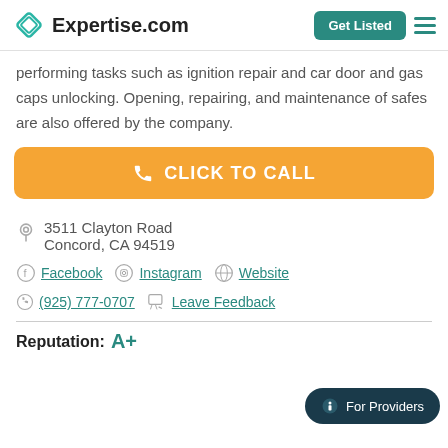Expertise.com | Get Listed
performing tasks such as ignition repair and car door and gas caps unlocking. Opening, repairing, and maintenance of safes are also offered by the company.
CLICK TO CALL
3511 Clayton Road
Concord, CA 94519
Facebook   Instagram   Website
(925) 777-0707   Leave Feedback
Reputation: